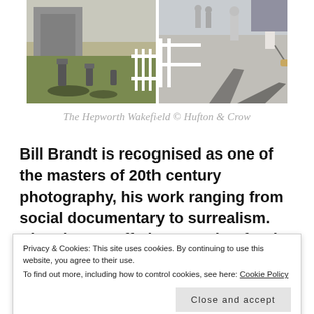[Figure (photo): Outdoor photograph split into two scenes: left side shows sculptures on grass beside a concrete building, right side shows people walking on a terrace/walkway with a dog, both in daylight]
The Hepworth Wakefield © Hufton & Crow
Bill Brandt is recognised as one of the masters of 20th century photography, his work ranging from social documentary to surrealism. His role as staff photographer for the Home Office brought him books, The English at Home (1936) and A Night in
Privacy & Cookies: This site uses cookies. By continuing to use this website, you agree to their use.
To find out more, including how to control cookies, see here: Cookie Policy
Close and accept
books, The English at Home (1936) and A Night in